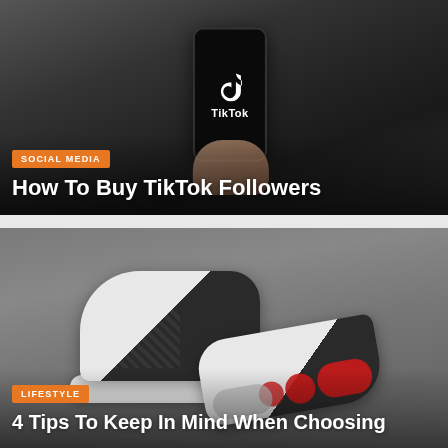[Figure (photo): Person holding a smartphone displaying the TikTok app logo on a black screen, dark blurred background]
SOCIAL MEDIA
How To Buy TikTok Followers
[Figure (photo): A pair of Air Jordan 13 sneakers (black, white, and red colorway) displayed on a gray background, one shoe upright and one tilted to show the sole]
LIFESTYLE
4 Tips To Keep In Mind When Choosing